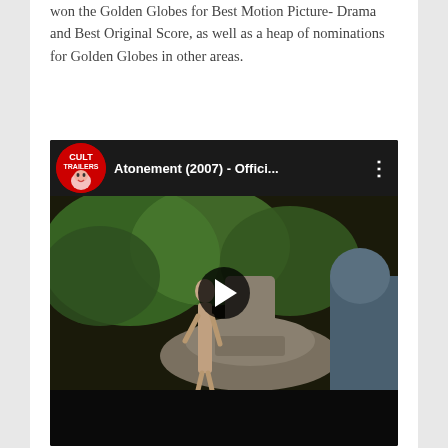won the Golden Globes for Best Motion Picture- Drama and Best Original Score, as well as a heap of nominations for Golden Globes in other areas.
[Figure (screenshot): YouTube video embed showing Atonement (2007) - Offici... from the Cult Trailers channel. The thumbnail shows a scene from the film near a stone fountain with a woman and a man visible. A play button is centered on the video.]
Posted in Film Reviews, Oscar nominated film, Oscar winning film | Tagged Atonement Review, Brenda Blethyn,